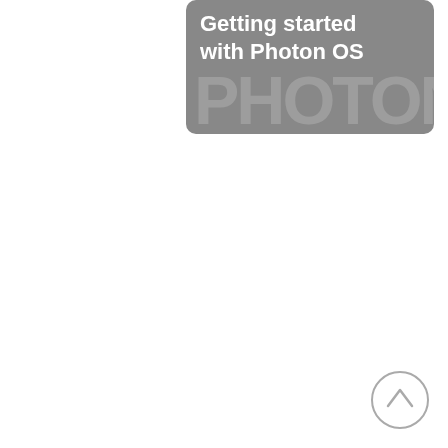[Figure (screenshot): Card thumbnail with text 'Getting started with Photon OS' and a PHOTON watermark text in background, on a grey rounded rectangle.]
[Figure (screenshot): Partially visible card thumbnail with text 'vReali... Manag...' on a grey rounded rectangle, cut off at the right edge.]
[Figure (other): Scroll-to-top circular button with an upward chevron arrow, positioned at bottom-right of the page.]